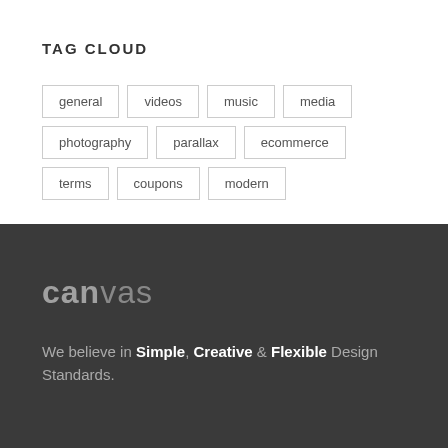TAG CLOUD
general
videos
music
media
photography
parallax
ecommerce
terms
coupons
modern
[Figure (logo): Canvas wordmark logo in grey tones on dark background]
We believe in Simple, Creative & Flexible Design Standards.